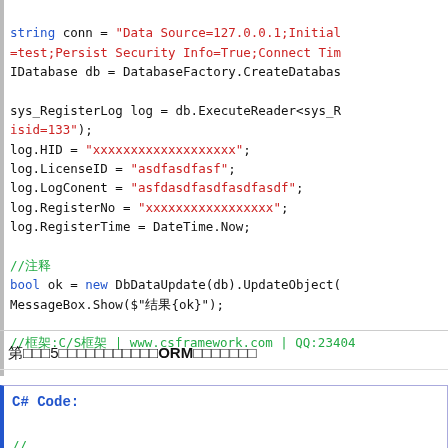string conn = "Data Source=127.0.0.1;Initial =test;Persist Security Info=True;Connect Tim IDatabase db = DatabaseFactory.CreateDatabas sys_RegisterLog log = db.ExecuteReader<sys_R isid=133"); log.HID = "xxxxxxxxxxxxxxxxxxx"; log.LicenseID = "asdfasdfasf"; log.LogConent = "asfdasdfasdfasdfasdf"; log.RegisterNo = "xxxxxxxxxxxxxxxxx"; log.RegisterTime = DateTime.Now; //注释 bool ok = new DbDataUpdate(db).UpdateObject( MessageBox.Show($"结果{ok}"); //框架:C/S框架 | www.csframework.com | QQ:23404
第5步，通过ORM框架更新数据
C# Code: // //通过ORM框架更新ORM数据